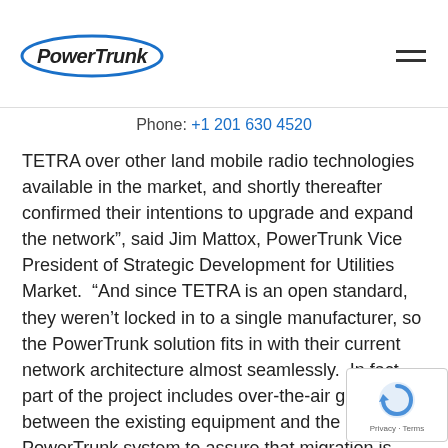[Figure (logo): PowerTrunk logo with oval shape and bold text]
Phone: +1 201 630 4520
TETRA over other land mobile radio technologies available in the market, and shortly thereafter confirmed their intentions to upgrade and expand the network”, said Jim Mattox, PowerTrunk Vice President of Strategic Development for Utilities Market. “And since TETRA is an open standard, they weren’t locked in to a single manufacturer, so the PowerTrunk solution fits in with their current network architecture almost seamlessly. In fact, part of the project includes over-the-air gateways between the existing equipment and the PowerTrunk system to assure that migration is graceful and transparent to the users meanwhile the network is reconfigured as part of the expansion.
This means that workers in the field can continue to